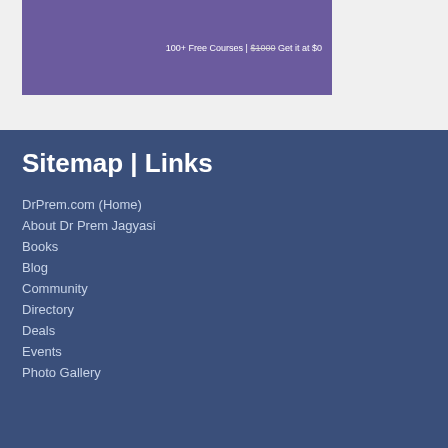[Figure (photo): Banner image with purple/teal background showing a person, with text '100+ Free Courses | $1000 Get it at $0']
Sitemap | Links
DrPrem.com (Home)
About Dr Prem Jagyasi
Books
Blog
Community
Directory
Deals
Events
Photo Gallery